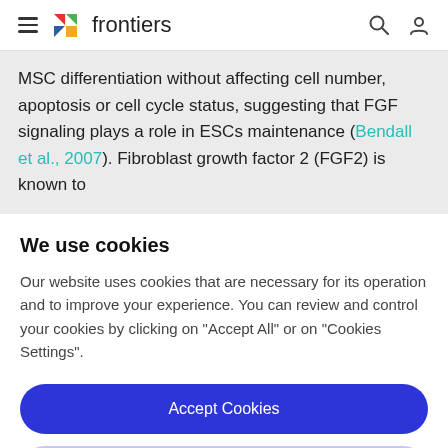frontiers
MSC differentiation without affecting cell number, apoptosis or cell cycle status, suggesting that FGF signaling plays a role in ESCs maintenance (Bendall et al., 2007). Fibroblast growth factor 2 (FGF2) is known to
We use cookies
Our website uses cookies that are necessary for its operation and to improve your experience. You can review and control your cookies by clicking on "Accept All" or on "Cookies Settings".
Accept Cookies
Cookies Settings